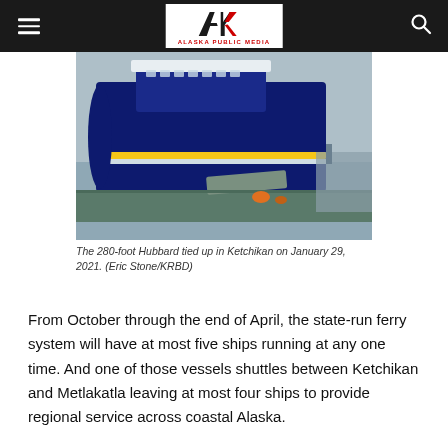Alaska Public Media navigation bar
[Figure (photo): The 280-foot Hubbard ferry vessel tied up at a dock in Ketchikan on January 29, 2021. The ship is dark blue with a yellow stripe, photographed from the dock showing the bow and gangway.]
The 280-foot Hubbard tied up in Ketchikan on January 29, 2021. (Eric Stone/KRBD)
From October through the end of April, the state-run ferry system will have at most five ships running at any one time. And one of those vessels shuttles between Ketchikan and Metlakatla leaving at most four ships to provide regional service across coastal Alaska.